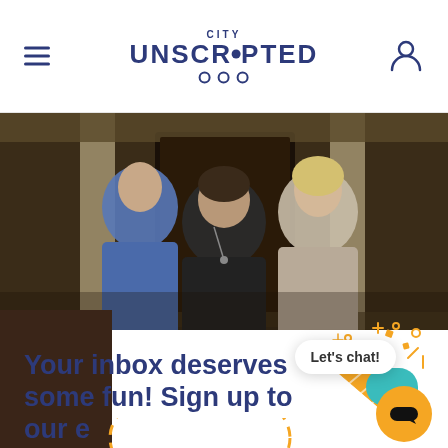CITY UNSCRIPTED
[Figure (photo): Three adults looking upward in front of a building with columns, one wearing a blue plaid shirt, one in black, one in grey/beige top]
Your inbox deserves some fun! Sign up to our e[mail]
[Figure (illustration): Orange party popper/confetti illustration in top right of content section]
[Figure (illustration): Orange dashed circle illustration overlapping the title text]
Let's chat!